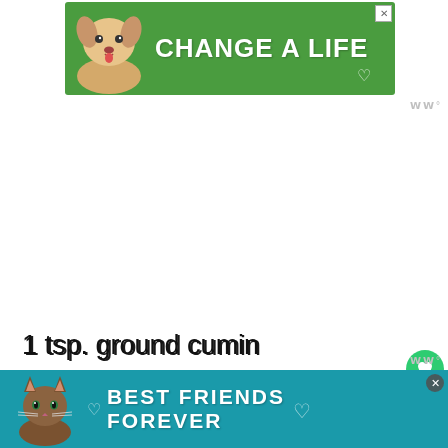[Figure (other): Green advertisement banner with a dog image and text 'CHANGE A LIFE' with a heart icon and close button]
1 tsp. ground cumin
1 tsp. ground cinnamon
1/2 tsp. ground coriander
1/2 tsp. kosher salt
4 metal or bamboo skewers (which have be...
[Figure (other): Teal advertisement banner with a cat image and text 'BEST FRIENDS FOREVER' with hearts and close button]